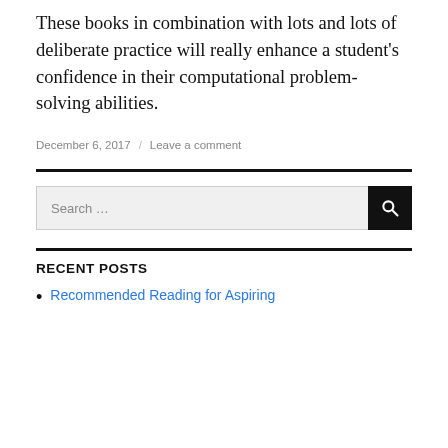These books in combination with lots and lots of deliberate practice will really enhance a student's confidence in their computational problem-solving abilities.
December 6, 2017 / Leave a comment
Search …
RECENT POSTS
Recommended Reading for Aspiring